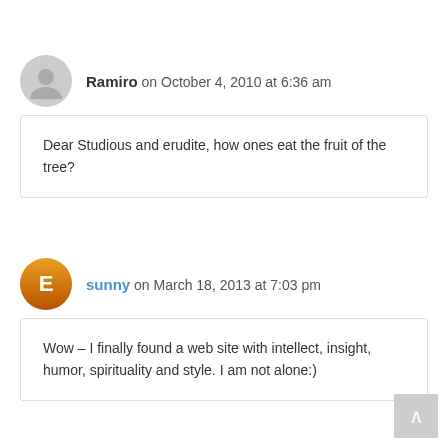Ramiro on October 4, 2010 at 6:36 am
Dear Studious and erudite, how ones eat the fruit of the tree?
sunny on March 18, 2013 at 7:03 pm
Wow – I finally found a web site with intellect, insight, humor, spirituality and style. I am not alone:)